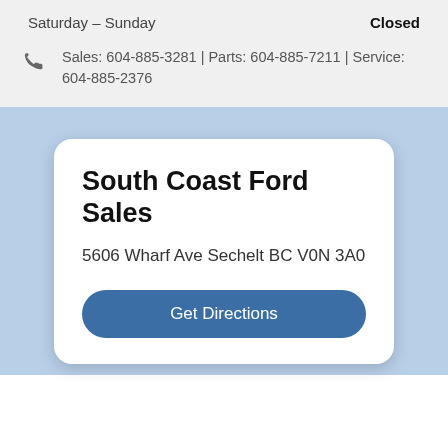Saturday - Sunday   Closed
Sales: 604-885-3281 | Parts: 604-885-7211 | Service: 604-885-2376
South Coast Ford Sales
5606 Wharf Ave Sechelt BC V0N 3A0
Get Directions